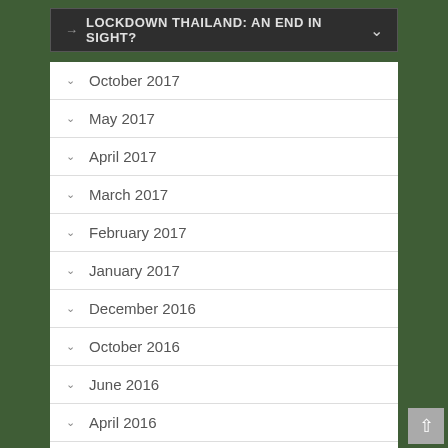→ LOCKDOWN THAILAND: AN END IN SIGHT?
October 2017
May 2017
April 2017
March 2017
February 2017
January 2017
December 2016
October 2016
June 2016
April 2016
October 2015
July 2015
May 2015